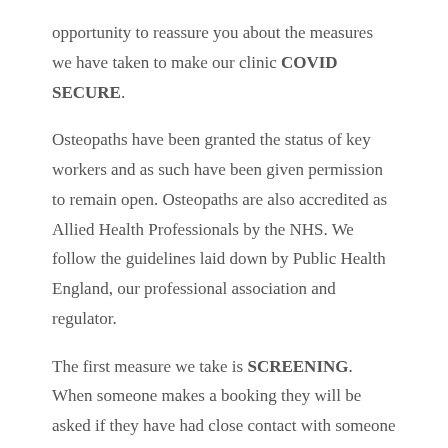opportunity to reassure you about the measures we have taken to make our clinic COVID SECURE.
Osteopaths have been granted the status of key workers and as such have been given permission to remain open. Osteopaths are also accredited as Allied Health Professionals by the NHS. We follow the guidelines laid down by Public Health England, our professional association and regulator.
The first measure we take is SCREENING. When someone makes a booking they will be asked if they have had close contact with someone diagnosed with Covid -19 or if they have experienced any cold or flu like symptoms within the last 14 days. An appointment reminder email the day before their visit will prompt patients to call the clinic if this has changed.